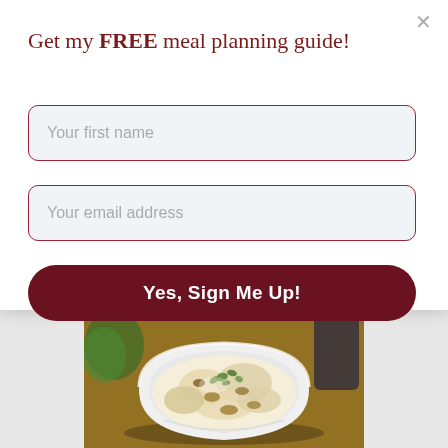Get my FREE meal planning guide!
Your first name
Your email address
Yes, Sign Me Up!
[Figure (photo): A white square bowl filled with a creamy chicken salad topped with herbs and nuts, on a wooden surface with blurred background items.]